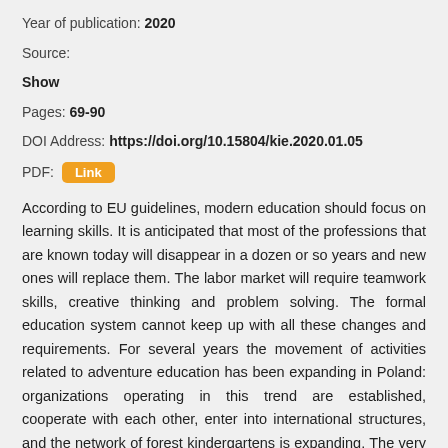Year of publication: 2020
Source:
Show
Pages: 69-90
DOI Address: https://doi.org/10.15804/kie.2020.01.05
PDF: Link
According to EU guidelines, modern education should focus on learning skills. It is anticipated that most of the professions that are known today will disappear in a dozen or so years and new ones will replace them. The labor market will require teamwork skills, creative thinking and problem solving. The formal education system cannot keep up with all these changes and requirements. For several years the movement of activities related to adventure education has been expanding in Poland: organizations operating in this trend are established, cooperate with each other, enter into international structures, and the network of forest kindergartens is expanding. The very concept